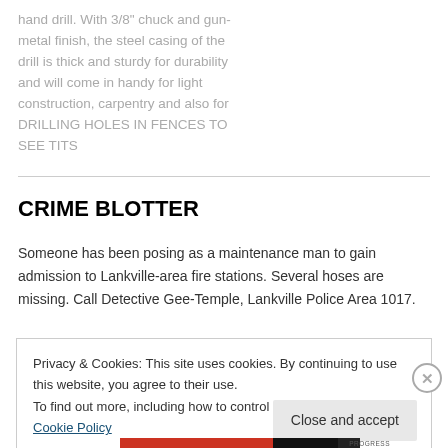hand drill. With 3/8" chuck and gun-metal finish, the steel casing of the drill is thick and sturdy for durability and will come in handy for light construction, carpentry and also for DRILLING HOLES IN FENCES TO SEE TITS
CRIME BLOTTER
Someone has been posing as a maintenance man to gain admission to Lankville-area fire stations. Several hoses are missing. Call Detective Gee-Temple, Lankville Police Area 1017.
Privacy & Cookies: This site uses cookies. By continuing to use this website, you agree to their use.
To find out more, including how to control cookies, see here: Cookie Policy
Close and accept